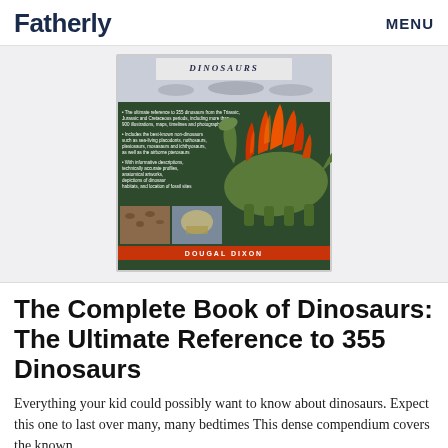Fatherly   MENU
[Figure (photo): Book cover of 'The Complete Book of Dinosaurs' by Dougal Dixon, featuring a stegosaurus with red/orange spines on a dark green background, with bullet-point descriptions on the left and small thumbnail images at the bottom]
The Complete Book of Dinosaurs: The Ultimate Reference to 355 Dinosaurs
Everything your kid could possibly want to know about dinosaurs. Expect this one to last over many, many bedtimes This dense compendium covers the known